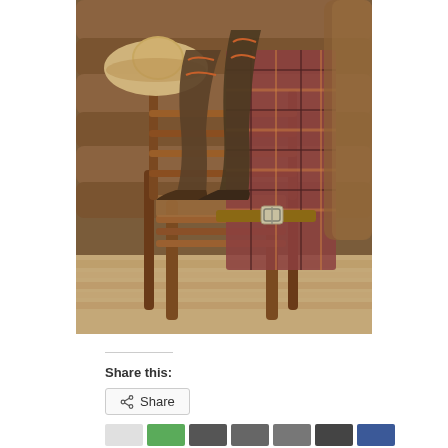[Figure (photo): A rustic scene with a wooden chair holding cowboy boots, a plaid shirt/blanket, and a cowboy hat hanging on the back, set against a log cabin wall with a woven rug on the floor.]
Share this:
Share